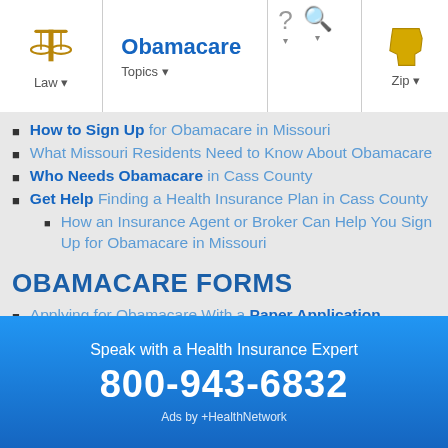Obamacare | Law | Topics | Zip
How to Sign Up for Obamacare in Missouri
What Missouri Residents Need to Know About Obamacare
Who Needs Obamacare in Cass County
Get Help Finding a Health Insurance Plan in Cass County
How an Insurance Agent or Broker Can Help You Sign Up for Obamacare in Missouri
OBAMACARE FORMS
Applying for Obamacare With a Paper Application
OBAMACARE RATES
Speak with a Health Insurance Expert
800-943-6832
Ads by +HealthNetwork